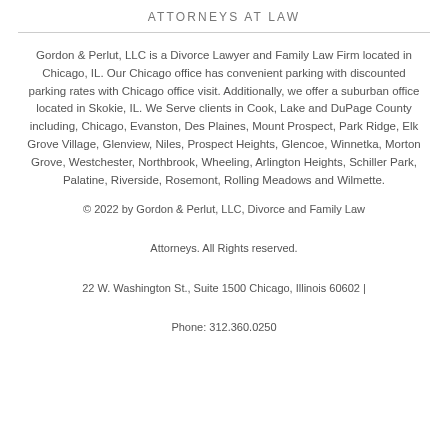ATTORNEYS AT LAW
Gordon & Perlut, LLC is a Divorce Lawyer and Family Law Firm located in Chicago, IL. Our Chicago office has convenient parking with discounted parking rates with Chicago office visit. Additionally, we offer a suburban office located in Skokie, IL. We Serve clients in Cook, Lake and DuPage County including, Chicago, Evanston, Des Plaines, Mount Prospect, Park Ridge, Elk Grove Village, Glenview, Niles, Prospect Heights, Glencoe, Winnetka, Morton Grove, Westchester, Northbrook, Wheeling, Arlington Heights, Schiller Park, Palatine, Riverside, Rosemont, Rolling Meadows and Wilmette.
© 2022 by Gordon & Perlut, LLC, Divorce and Family Law Attorneys. All Rights reserved.
22 W. Washington St., Suite 1500 Chicago, Illinois 60602 | Phone: 312.360.0250